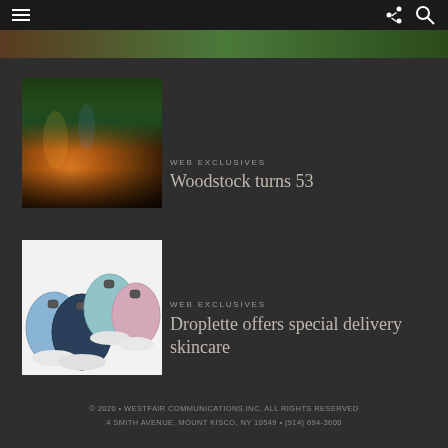navigation bar with hamburger menu, share icon, and search icon
[Figure (photo): Top image strip showing partial view of a scene with dark tones]
[Figure (photo): Concert crowd photo with people raising hands, stage lights with orange and purple hues, trees in background]
WEB EXCLUSIVES
Woodstock turns 53
[Figure (photo): Four oval-shaped Droplette skincare devices in light blue, pink, dark navy, and medium blue colors on white background]
WEB EXCLUSIVES
Droplette offers special delivery skincare
© 2020 • WESTFAIR COMMUNICATIONS INC, ALL RIGHTS RESERVED
4 SMITH AVENUE, MOUNT KISCO, NY 10549 • (914) 694-3600